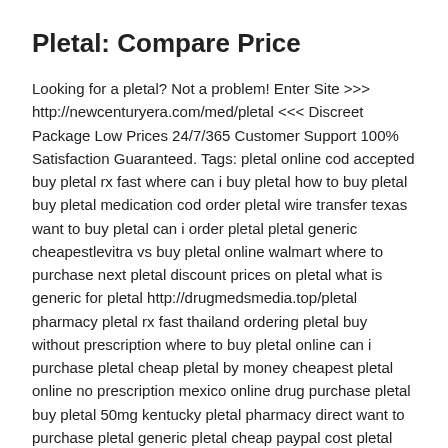Pletal: Compare Price
Looking for a pletal? Not a problem! Enter Site >>> http://newcenturyera.com/med/pletal <<< Discreet Package Low Prices 24/7/365 Customer Support 100% Satisfaction Guaranteed. Tags: pletal online cod accepted buy pletal rx fast where can i buy pletal how to buy pletal buy pletal medication cod order pletal wire transfer texas want to buy pletal can i order pletal pletal generic cheapestlevitra vs buy pletal online walmart where to purchase next pletal discount prices on pletal what is generic for pletal http://drugmedsmedia.top/pletal pharmacy pletal rx fast thailand ordering pletal buy without prescription where to buy pletal online can i purchase pletal cheap pletal by money cheapest pletal online no prescription mexico online drug purchase pletal buy pletal 50mg kentucky pletal pharmacy direct want to purchase pletal generic pletal cheap paypal cost pletal tablets wire transfer how to order pletal cheap generic pletal in armagh buy generic pletal now buy pletal discount buy cheapest pletal without prescription no prescription pletal online pharmaceutical best price pletal in spain cheap pletal prescriptions online can i buy pletal purchase pletal vision where to order next pletal want to order pletal pletal rx buy generic low price pletal buy in online pletal coupon pletal western union no prescription